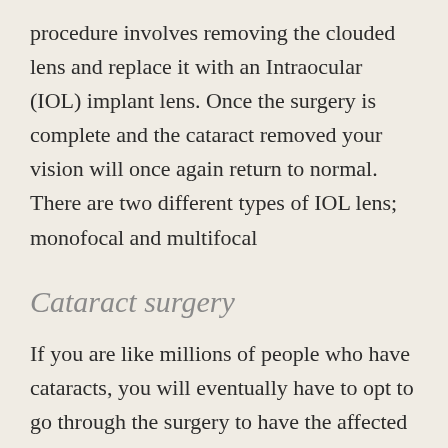procedure involves removing the clouded lens and replace it with an Intraocular (IOL) implant lens. Once the surgery is complete and the cataract removed your vision will once again return to normal. There are two different types of IOL lens; monofocal and multifocal
Cataract surgery
If you are like millions of people who have cataracts, you will eventually have to opt to go through the surgery to have the affected lens in